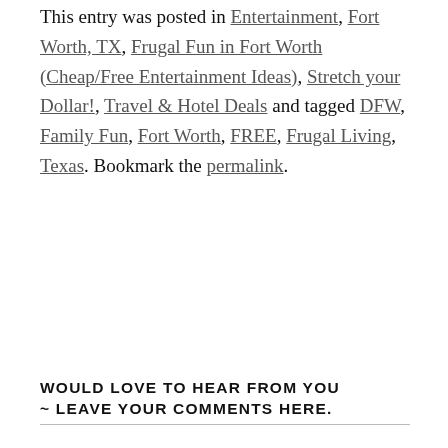This entry was posted in Entertainment, Fort Worth, TX, Frugal Fun in Fort Worth (Cheap/Free Entertainment Ideas), Stretch your Dollar!, Travel & Hotel Deals and tagged DFW, Family Fun, Fort Worth, FREE, Frugal Living, Texas. Bookmark the permalink.
WOULD LOVE TO HEAR FROM YOU ~ LEAVE YOUR COMMENTS HERE.
Your email address will not be published. Required fields are marked *